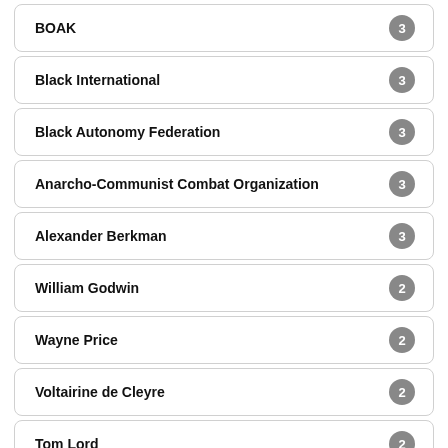BOAK
Black International
Black Autonomy Federation
Anarcho-Communist Combat Organization
Alexander Berkman
William Godwin
Wayne Price
Voltairine de Cleyre
Tom Lord
Tiqqun
The Institute for Experimental Freedom